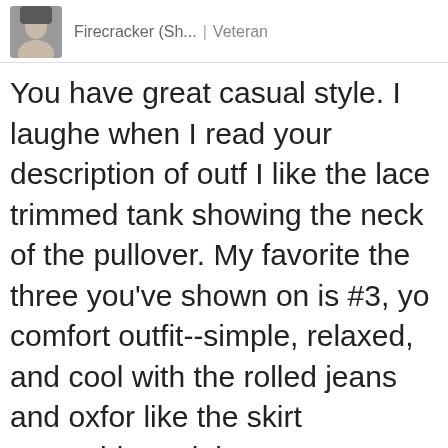Firecracker (Sh... | Veteran
You have great casual style. I laughed when I read your description of outfit I like the lace trimmed tank showing the neck of the pullover. My favorite the three you've shown on is #3, yo comfort outfit--simple, relaxed, and cool with the rolled jeans and oxfor like the skirt ensemble and the pon over skinnies, too.